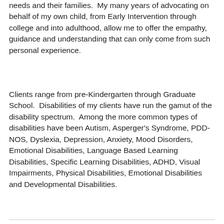needs and their families.  My many years of advocating on behalf of my own child, from Early Intervention through college and into adulthood, allow me to offer the empathy, guidance and understanding that can only come from such personal experience.
Clients range from pre-Kindergarten through Graduate School.  Disabilities of my clients have run the gamut of the disability spectrum.  Among the more common types of disabilities have been Autism, Asperger's Syndrome, PDD-NOS, Dyslexia, Depression, Anxiety, Mood Disorders, Emotional Disabilities, Language Based Learning Disabilities, Specific Learning Disabilities, ADHD, Visual Impairments, Physical Disabilities, Emotional Disabilities and Developmental Disabilities.